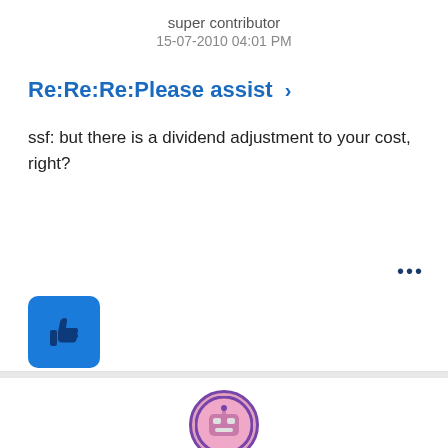super contributor
15-07-2010 04:01 PM
Re:Re:Re:Please assist >
ssf: but there is a dividend adjustment to your cost, right?
[Figure (illustration): Blue thumbs-up kudos button icon]
0 Kudos
[Figure (illustration): Round avatar icon with pink/purple coloring showing a robot or character face]